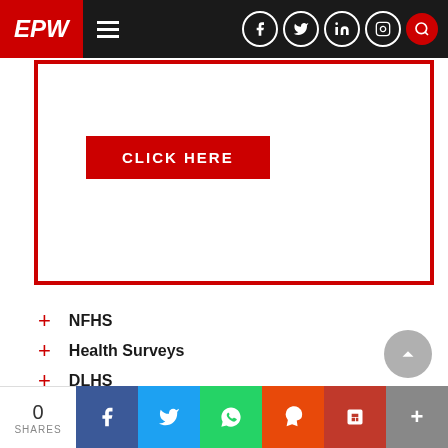EPW
[Figure (screenshot): Red-bordered promotional box with CLICK HERE button]
NFHS
Health Surveys
DLHS
Health Data
Healthcare in India
Health Policy and Legislation
0 SHARES | Facebook | Twitter | WhatsApp | Reddit | Pocket | More